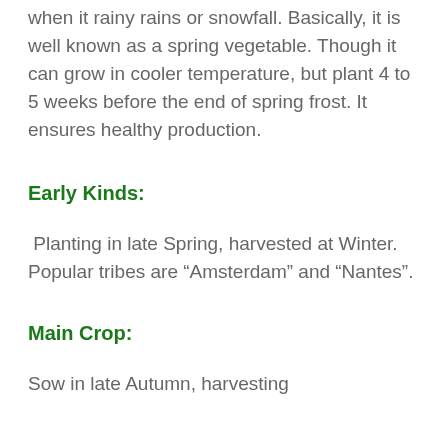when it rainy rains or snowfall. Basically, it is well known as a spring vegetable. Though it can grow in cooler temperature, but plant 4 to 5 weeks before the end of spring frost. It ensures healthy production.
Early Kinds:
Planting in late Spring, harvested at Winter. Popular tribes are “Amsterdam” and “Nantes”.
Main Crop:
Sow in late Autumn, harvesting